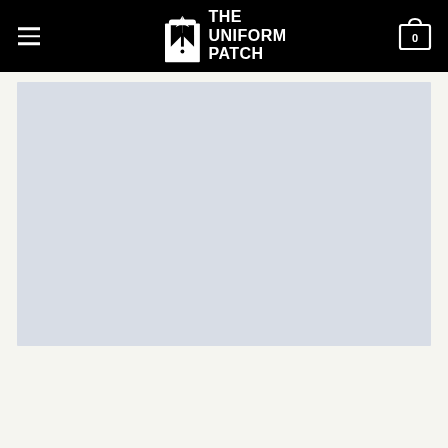THE UNIFORM PATCH
[Figure (other): Light blue-gray placeholder image area, likely a product image placeholder for The Uniform Patch website]